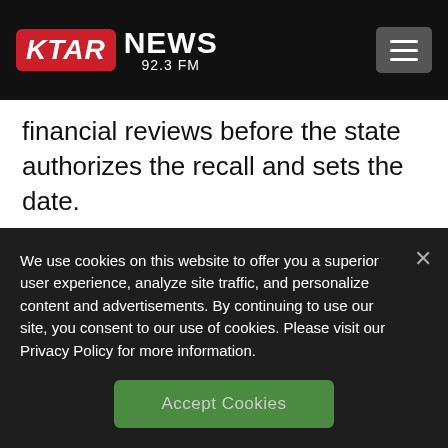KTAR NEWS 92.3 FM
financial reviews before the state authorizes the recall and sets the date.
For example, the Finance Department has 30 days to review the cost estimate for the election. The agency issued the preliminary
We use cookies on this website to offer you a superior user experience, analyze site traffic, and personalize content and advertisements. By continuing to use our site, you consent to our use of cookies. Please visit our Privacy Policy for more information.
Accept Cookies